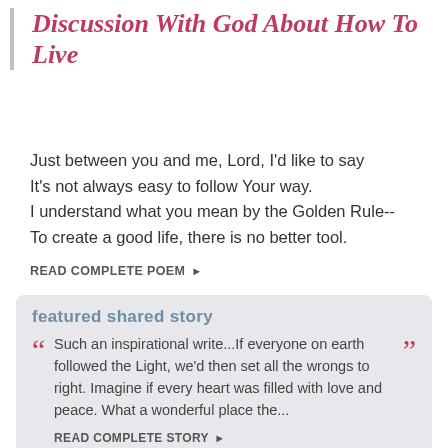Discussion With God About How To Live
Just between you and me, Lord, I'd like to say
It's not always easy to follow Your way.
I understand what you mean by the Golden Rule--
To create a good life, there is no better tool.
READ COMPLETE POEM ▶
featured shared story
Such an inspirational write...If everyone on earth followed the Light, we'd then set all the wrongs to right. Imagine if every heart was filled with love and peace. What a wonderful place the...
READ COMPLETE STORY ▶